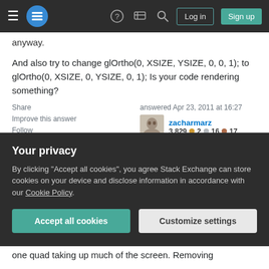Stack Exchange navigation bar with hamburger menu, logo, help, chat, search icons, Log in and Sign up buttons
anyway.
And also try to change glOrtho(0, XSIZE, YSIZE, 0, 0, 1); to glOrtho(0, XSIZE, 0, YSIZE, 0, 1); Is your code rendering something?
Share
Improve this answer
Follow
answered Apr 23, 2011 at 16:27
zacharmarz
3,829 ●2 ●16 ●17
FPS Log is: 29 26 23 21 16 16 15 14 13 12 11 11 11
Your privacy
By clicking "Accept all cookies", you agree Stack Exchange can store cookies on your device and disclose information in accordance with our Cookie Policy.
Accept all cookies
Customize settings
one quad taking up much of the screen. Removing